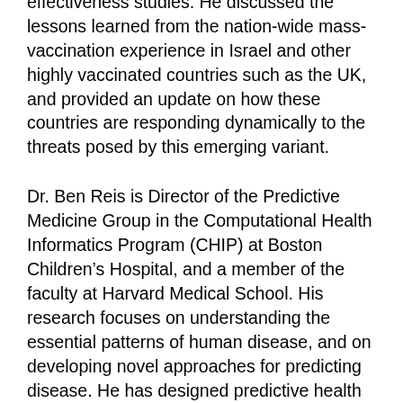challenges involved in real-world vaccination effectiveness studies. He discussed the lessons learned from the nation-wide mass-vaccination experience in Israel and other highly vaccinated countries such as the UK, and provided an update on how these countries are responding dynamically to the threats posed by this emerging variant.
Dr. Ben Reis is Director of the Predictive Medicine Group in the Computational Health Informatics Program (CHIP) at Boston Children's Hospital, and a member of the faculty at Harvard Medical School. His research focuses on understanding the essential patterns of human disease, and on developing novel approaches for predicting disease. He has designed predictive health monitoring systems for regional and national settings, and has advised governments worldwide on establishing biodefense and biosurveillance infrastructures to respond to a wide